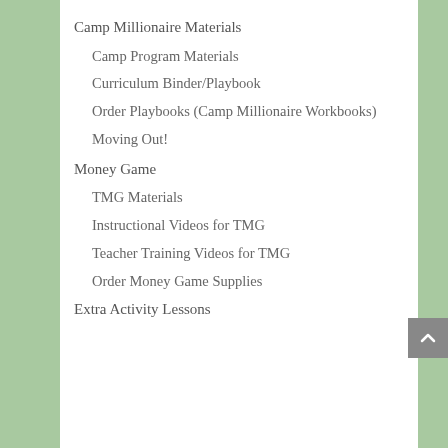Camp Millionaire Materials
Camp Program Materials
Curriculum Binder/Playbook
Order Playbooks (Camp Millionaire Workbooks)
Moving Out!
Money Game
TMG Materials
Instructional Videos for TMG
Teacher Training Videos for TMG
Order Money Game Supplies
Extra Activity Lessons